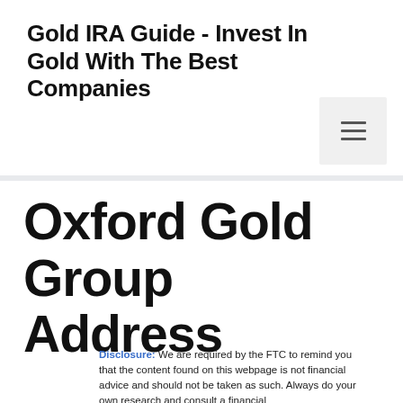Gold IRA Guide - Invest In Gold With The Best Companies
Oxford Gold Group Address
Disclosure: We are required by the FTC to remind you that the content found on this webpage is not financial advice and should not be taken as such. Always do your own research and consult a financial